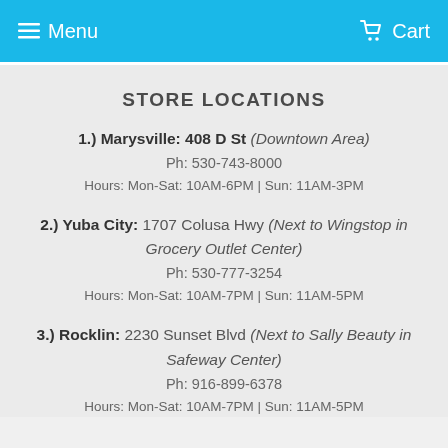Menu  Cart
STORE LOCATIONS
1.) Marysville: 408 D St (Downtown Area)
Ph: 530-743-8000
Hours: Mon-Sat: 10AM-6PM | Sun: 11AM-3PM
2.) Yuba City: 1707 Colusa Hwy (Next to Wingstop in Grocery Outlet Center)
Ph: 530-777-3254
Hours: Mon-Sat: 10AM-7PM | Sun: 11AM-5PM
3.) Rocklin: 2230 Sunset Blvd (Next to Sally Beauty in Safeway Center)
Ph: 916-899-6378
Hours: Mon-Sat: 10AM-7PM | Sun: 11AM-5PM